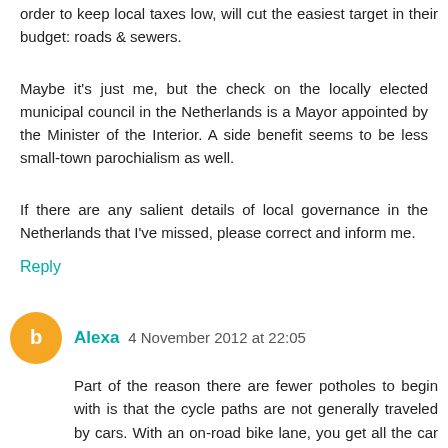order to keep local taxes low, will cut the easiest target in their budget: roads & sewers.
Maybe it's just me, but the check on the locally elected municipal council in the Netherlands is a Mayor appointed by the Minister of the Interior. A side benefit seems to be less small-town parochialism as well.
If there are any salient details of local governance in the Netherlands that I've missed, please correct and inform me.
Reply
Alexa 4 November 2012 at 22:05
Part of the reason there are fewer potholes to begin with is that the cycle paths are not generally traveled by cars. With an on-road bike lane, you get all the car damage and little of the benefit. The heavier the vehicle, the worse the damage inflicted. It's just good practice to keep the vehicles separated. I love that the Netherlands does this right down to trash collection. Having to bring your garbage to a central location encourages resource conservation, too. It's